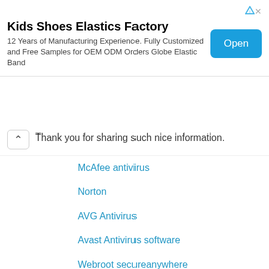[Figure (screenshot): Advertisement banner for Kids Shoes Elastics Factory with an Open button]
Thank you for sharing such nice information.
McAfee antivirus
Norton
AVG Antivirus
Avast Antivirus software
Webroot secureanywhere
Norton Secure
AVG antivirus
activation